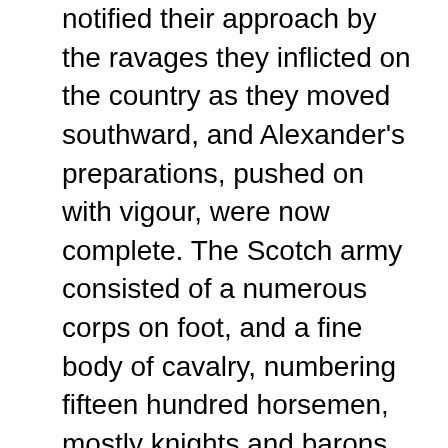notified their approach by the ravages they inflicted on the country as they moved southward, and Alexander's preparations, pushed on with vigour, were now complete. The Scotch army consisted of a numerous corps on foot, and a fine body of cavalry, numbering fifteen hundred horsemen, mostly knights and barons, clad in armour from head to heel, and mounted on Spanish horses. The foot soldiers, armed with spears and bows, were led by Alexander, high steward of Scotland, great grandfather of Robert II., the first of the Stewart line. The second day opened with the storm only slightly moderated, but Haco felt that battle must be faced, for provisions were running short, and every hour was inflicting fresh disasters on the fleet. He sent on shore nine hundred fierce and gallant warriors. As they advanced through the surf in their transports, they sighted the enemy's cavalry ranged on the heights above the village of Largs, their forms standing boldly out against the red storm clouds. A crowd of armed